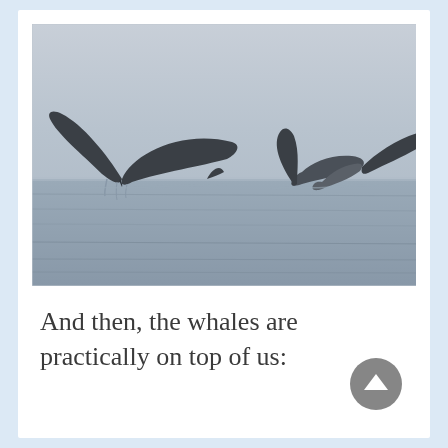[Figure (photo): Black and white photograph of whale tails (flukes) visible above the ocean surface. Two large whale tails are prominent, with water dripping from them and calm sea in the background.]
And then, the whales are practically on top of us: